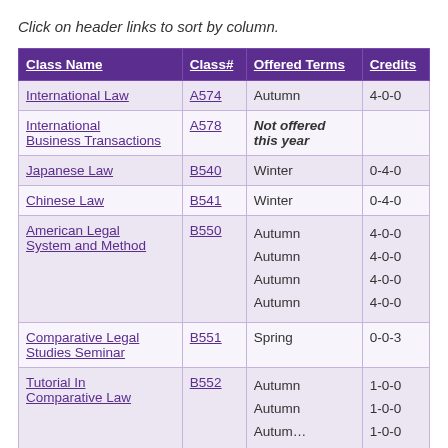Click on header links to sort by column.
| Class Name | Class# | Offered Terms | Credits |
| --- | --- | --- | --- |
| International Law | A574 | Autumn | 4-0-0 |
| International Business Transactions | A578 | Not offered this year |  |
| Japanese Law | B540 | Winter | 0-4-0 |
| Chinese Law | B541 | Winter | 0-4-0 |
| American Legal System and Method | B550 | Autumn
Autumn
Autumn
Autumn | 4-0-0
4-0-0
4-0-0
4-0-0 |
| Comparative Legal Studies Seminar | B551 | Spring | 0-0-3 |
| Tutorial In Comparative Law | B552 | Autumn
Autumn
Autumn | 1-0-0
1-0-0
1-0-0 |